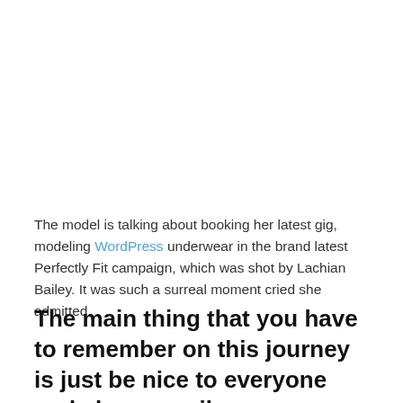The model is talking about booking her latest gig, modeling WordPress underwear in the brand latest Perfectly Fit campaign, which was shot by Lachian Bailey. It was such a surreal moment cried she admitted.
The main thing that you have to remember on this journey is just be nice to everyone and always smile.